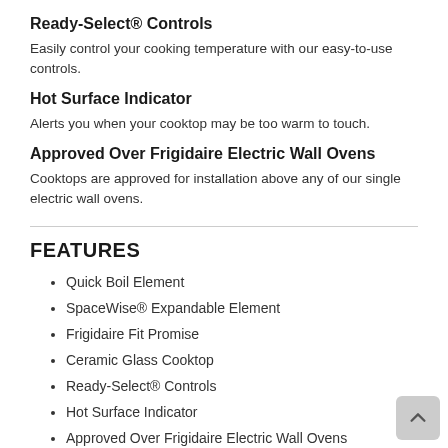Ready-Select® Controls
Easily control your cooking temperature with our easy-to-use controls.
Hot Surface Indicator
Alerts you when your cooktop may be too warm to touch.
Approved Over Frigidaire Electric Wall Ovens
Cooktops are approved for installation above any of our single electric wall ovens.
FEATURES
Quick Boil Element
SpaceWise® Expandable Element
Frigidaire Fit Promise
Ceramic Glass Cooktop
Ready-Select® Controls
Hot Surface Indicator
Approved Over Frigidaire Electric Wall Ovens